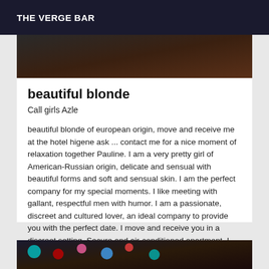THE VERGE BAR
[Figure (photo): Dark photograph showing a dim indoor scene with warm orange/brown tones]
beautiful blonde
Call girls Azle
beautiful blonde of european origin, move and receive me at the hotel higene ask ... contact me for a nice moment of relaxation together Pauline. I am a very pretty girl of American-Russian origin, delicate and sensual with beautiful forms and soft and sensual skin. I am the perfect company for my special moments. I like meeting with gallant, respectful men with humor. I am a passionate, discreet and cultured lover, an ideal company to provide you with the perfect date. I move and receive you in a discreet setting. Secure and air-conditioned apartment. I answer by
[Figure (photo): Dark photograph with colorful bokeh lights: teal, red, pink on dark background]